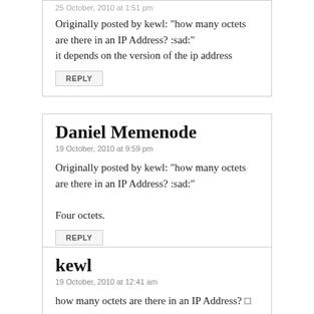25 October, 2010 at 1:51 pm
Originally posted by kewl: “how many octets are there in an IP Address? :sad:"
it depends on the version of the ip address
REPLY
Daniel Memenode
19 October, 2010 at 9:59 pm
Originally posted by kewl: “how many octets are there in an IP Address? :sad:"

Four octets.
REPLY
kewl
19 October, 2010 at 12:41 am
how many octets are there in an IP Address? □